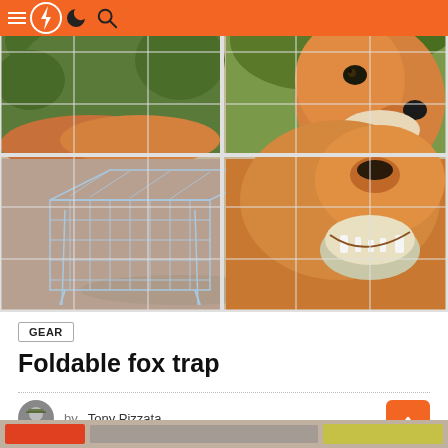Navigation header with hamburger menu, logo, moon icon, and search icon
[Figure (photo): A 2x2 grid of images: top-left shows a fox lying in greenery from the back, top-right shows a close-up of a red fox face looking sideways, bottom-left shows a foldable wire cage trap on a brown background, bottom-right shows the lower half of a fox face with bared teeth]
GEAR
Foldable fox trap
by Tony Pizzata